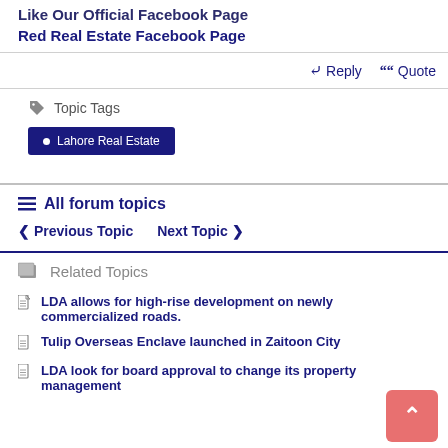Like Our Official Facebook Page
Red Real Estate Facebook Page
Reply  Quote
Topic Tags
Lahore Real Estate
All forum topics
< Previous Topic   Next Topic >
Related Topics
LDA allows for high-rise development on newly commercialized roads.
Tulip Overseas Enclave launched in Zaitoon City
LDA look for board approval to change its property management